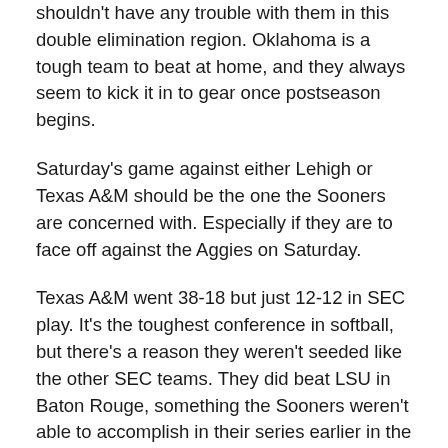shouldn't have any trouble with them in this double elimination region. Oklahoma is a tough team to beat at home, and they always seem to kick it in to gear once postseason begins.
Saturday's game against either Lehigh or Texas A&M should be the one the Sooners are concerned with. Especially if they are to face off against the Aggies on Saturday.
Texas A&M went 38-18 but just 12-12 in SEC play. It's the toughest conference in softball, but there's a reason they weren't seeded like the other SEC teams. They did beat LSU in Baton Rouge, something the Sooners weren't able to accomplish in their series earlier in the year. A&M wins against good teams by holding them to lower scoring games than they are use to, which could give the Sooners problems this